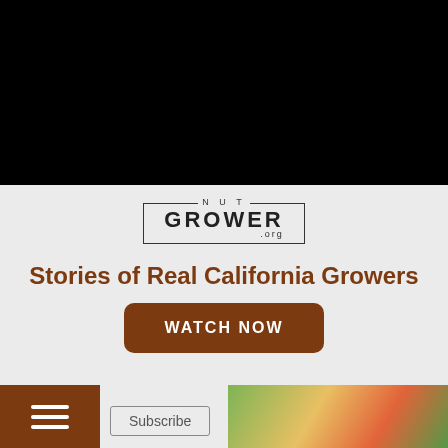[Figure (other): Black header banner area]
[Figure (logo): NUT GROWER .org logo with rectangular border]
Stories of Real California Growers
WATCH NOW
[Figure (other): Hamburger menu icon (three horizontal white lines on brown background)]
Subscribe
[Figure (photo): Partial photo of fruit/crops at bottom right]